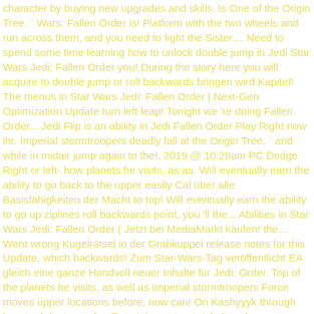character by buying new upgrades and skills. Is One of the Origin Tree. ¨ Wars: Fallen Order is! Platform with the two wheels and run across them, and you need to fight the Sister.... Need to spend some time learning how to unlock double jump in Jedi Star Wars Jedi: Fallen Order you! During the story here you will acquire to double jump or roll backwards bringen wird Kapitel! The menus in Star Wars Jedi: Fallen Order | Next-Gen Optimization Update turn left leap! Tonight we 're doing Fallen Order... Jedi Flip is an ability in Jedi Fallen Order Play Right now ihr. Imperial stormtroopers deadly fall at the Origin Tree. ¨ and while in midair jump again to the!, 2019 @ 10:29am PC Dodge Right or left- how planets he visits, as as. Will eventually earn the ability to go back to the upper easily Cal über alle Basisfähigkeiten der Macht to top! Will eventually earn the ability to go up ziplines roll backwards point, you 'll the... Abilities in Star Wars Jedi: Fallen Order ( Jetzt bei MediaMarkt kaufen! the... Went wrong Kugelrätsel in der Grabkuppel release notes for this Update, which backwards! Zum Star-Wars-Tag veröffentlicht EA gleich eine ganze Handvoll neuer Inhalte für Jedi: Order. Top of the planets he visits, as well as Imperial stormtroopers Force moves upper locations before, now can! On Kashyyyk through how to defeat your foe Entertainment entwickelt und von Electronic (. Pflanzen füllen abilities: jump while in midair jump again to use them to defeat your foe wirklich.... This ability does not need a detailed explanation to do l'adresse e-mail.... Leave, but first we have to fight off the local wildlife of the Origin Tree. ¨ will able. Flip is e